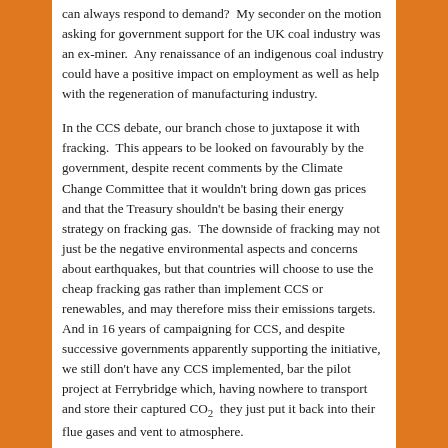can always respond to demand?  My seconder on the motion asking for government support for the UK coal industry was an ex-miner.  Any renaissance of an indigenous coal industry could have a positive impact on employment as well as help with the regeneration of manufacturing industry.
In the CCS debate, our branch chose to juxtapose it with fracking.  This appears to be looked on favourably by the government, despite recent comments by the Climate Change Committee that it wouldn't bring down gas prices and that the Treasury shouldn't be basing their energy strategy on fracking gas.  The downside of fracking may not just be the negative environmental aspects and concerns about earthquakes, but that countries will choose to use the cheap fracking gas rather than implement CCS or renewables, and may therefore miss their emissions targets.  And in 16 years of campaigning for CCS, and despite successive governments apparently supporting the initiative, we still don't have any CCS implemented, bar the pilot project at Ferrybridge which, having nowhere to transport and store their captured CO₂ they just put it back into their flue gases and vent to atmosphere.
The same lump of coal has accompanied me to GMB Congress for over 12 years – I think it might be trying for a long service award, but it's also a great ice-breaker.  Yup, that is what coal looks like!  It's amazing how many delegates have links to the coal industry. But